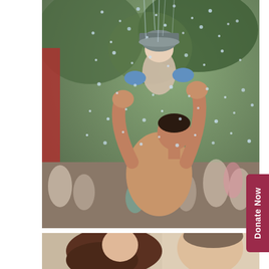[Figure (photo): A shirtless man holds a baby wearing a gray cap up in the air while standing in a spray of water at an outdoor event. Green trees and a crowd of people are visible in the blurred background.]
[Figure (photo): Partial view of a woman with long brown hair and a man, cropped at the top of the frame.]